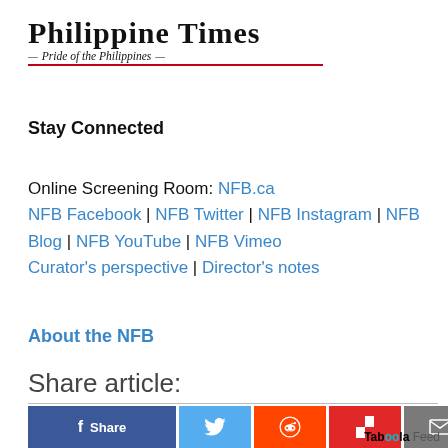[Figure (logo): Philippine Times logo with tagline 'Pride of the Philippiness' and red underline]
Stay Connected
Online Screening Room: NFB.ca
NFB Facebook | NFB Twitter | NFB Instagram | NFB Blog | NFB YouTube | NFB Vimeo
Curator's perspective | Director's notes
About the NFB
Share article:
[Figure (infographic): Share buttons: Facebook Share, Twitter, Reddit, Flipboard, Email; Taboola Feed label at bottom right]